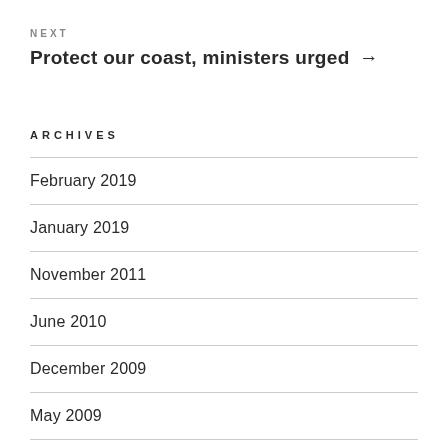NEXT
Protect our coast, ministers urged →
ARCHIVES
February 2019
January 2019
November 2011
June 2010
December 2009
May 2009